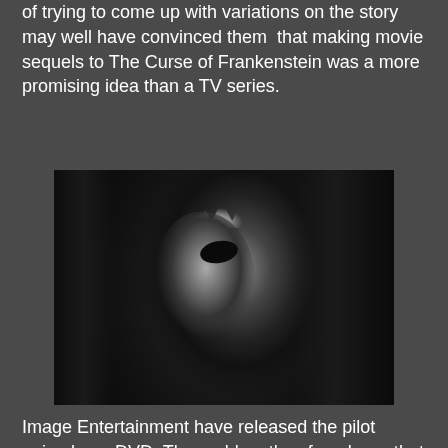of trying to come up with variations on the story may well have convinced them that making movie sequels to The Curse of Frankenstein was a more promising idea than a TV series.
[Figure (photo): Black and white photograph of a monster figure (Frankenstein's monster) with distinctive hair, dark eye patch, and shadowed face against a dark background with what appears to be a door frame or curtain.]
Image Entertainment have released the pilot episode on DVD. The problem they faced was that even at a budget price purchasers might be disappointed that all they were getting was a single half-hour episode of a TV series. Their solution was to load the DVDs with extras. There's a very good commentary track, there are brief interviews with Michael Carreras and Peter Cushing, there's an extended